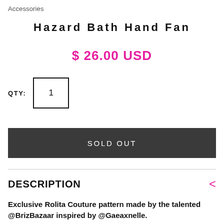Accessories
Hazard Bath Hand Fan
$ 26.00 USD
QTY: 1
SOLD OUT
DESCRIPTION
Exclusive Rolita Couture pattern made by the talented @BrizBazaar inspired by @Gaeaxnelle.